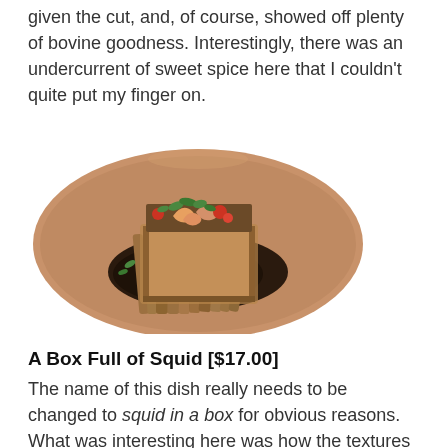given the cut, and, of course, showed off plenty of bovine goodness. Interestingly, there was an undercurrent of sweet spice here that I couldn't quite put my finger on.
[Figure (photo): A tamale or food item wrapped in corn husks, open at the top revealing shrimp and tomatoes garnished with green herbs, served on a dark sauce on a terracotta/clay plate.]
A Box Full of Squid [$17.00]
The name of this dish really needs to be changed to squid in a box for obvious reasons. What was interesting here was how the textures of shrooms and squid mimicked each other, giving us a sense of simultaneously supple and snappy consistencies. Unfortunately, I found the potato "box" overly salty, while the tartness of the tomatoes as well as the charred eggplant tended to mask the main ingredients.